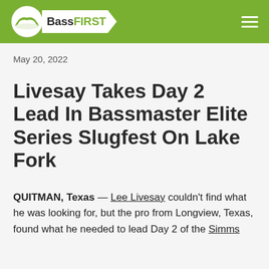BassFIRST
May 20, 2022
Livesay Takes Day 2 Lead In Bassmaster Elite Series Slugfest On Lake Fork
QUITMAN, Texas — Lee Livesay couldn't find what he was looking for, but the pro from Longview, Texas, found what he needed to lead Day 2 of the Simms